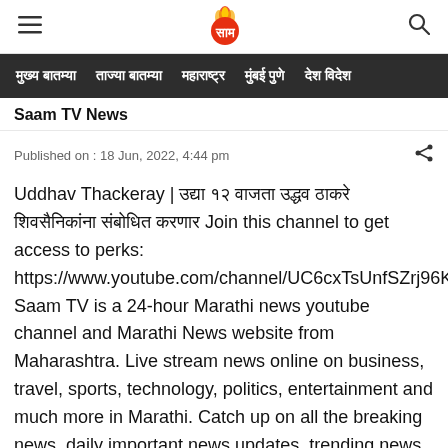Saam TV (logo) — hamburger menu and search icon
मुख्य बातम्या  ताज्या बातम्या  महाराष्ट्र  मुंबई पुणे  देश विदेश
Saam TV News
Published on : 18 Jun, 2022, 4:44 pm
Uddhav Thackeray | उद्या १२ वाजता उद्धव ठाकरे शिवसैनिकांना संबोधित करणार Join this channel to get access to perks: https://www.youtube.com/channel/UC6cxTsUnfSZrj96KNHhRTHQ/join Saam TV is a 24-hour Marathi news youtube channel and Marathi News website from Maharashtra. Live stream news online on business, travel, sports, technology, politics, entertainment and much more in Marathi. Catch up on all the breaking news, daily important news updates, trending news videos on Saam TVs live TV on youtube. The Marathi